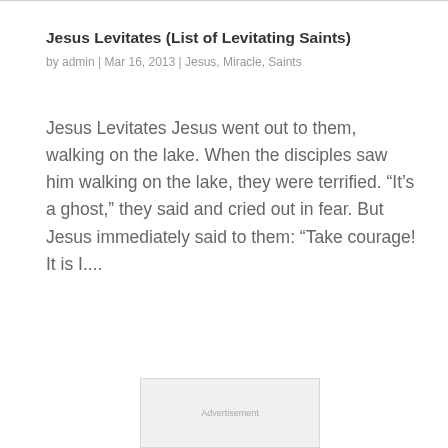Jesus Levitates (List of Levitating Saints)
by admin | Mar 16, 2013 | Jesus, Miracle, Saints
Jesus Levitates Jesus went out to them, walking on the lake. When the disciples saw him walking on the lake, they were terrified. “It’s a ghost,” they said and cried out in fear. But Jesus immediately said to them: “Take courage! It is I....
« Older Entries
[Figure (other): Advertisement or placeholder box, light gray background]